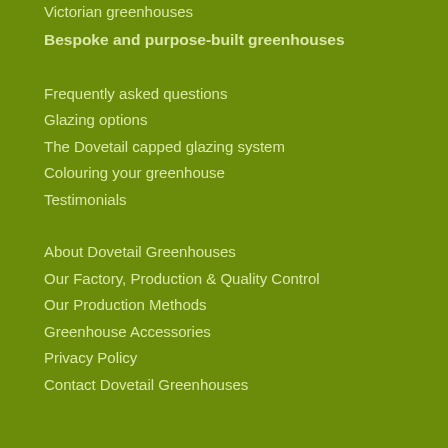Victorian greenhouses
Bespoke and purpose-built greenhouses
Frequently asked questions
Glazing options
The Dovetail capped glazing system
Colouring your greenhouse
Testimonials
About Dovetail Greenhouses
Our Factory, Production & Quality Control
Our Production Methods
Greenhouse Accessories
Privacy Policy
Contact Dovetail Greenhouses